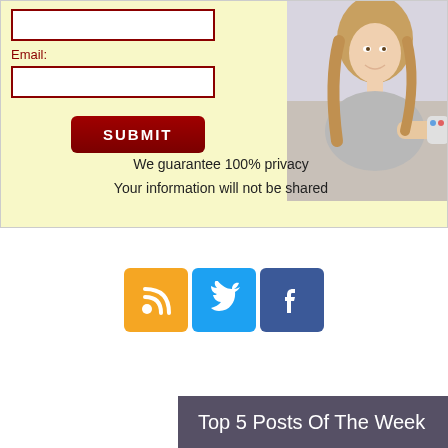[Figure (screenshot): Yellow background signup form with email input, submit button, and a photo of a woman holding a game controller]
Email:
SUBMIT
We guarantee 100% privacy
Your information will not be shared
[Figure (infographic): Three social media icon buttons: RSS (orange), Twitter (blue), Facebook (dark blue)]
Top 5 Posts Of The Week